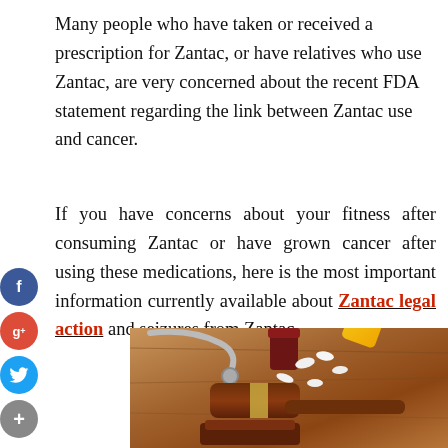Many people who have taken or received a prescription for Zantac, or have relatives who use Zantac, are very concerned about the recent FDA statement regarding the link between Zantac use and cancer.
If you have concerns about your fitness after consuming Zantac or have grown cancer after using these medications, here is the most important information currently available about Zantac legal action and seizures from Zantac.
[Figure (photo): A legal/medical themed photo showing a wooden judge's gavel on a sound block, a stethoscope, pill bottles (yellow and dark red), and scattered white pills/capsules on a wooden surface.]